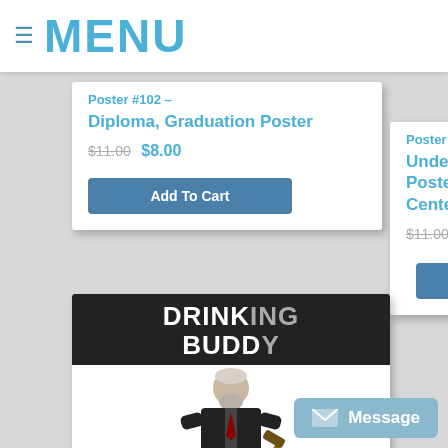≡ MENU
Poster #102 – Diploma, Graduation Poster
$11.00 $8.00
Add To Cart
Poster #103 – Underage Drinking Prevention Poster for Schools and Treatment Centers
$11.00 $8.00
Add To Cart
[Figure (photo): Drinking Buddy poster showing an older man in a suit holding a gavel]
Message